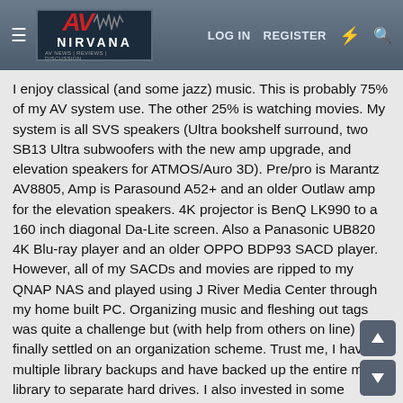AV NIRVANA — LOG IN  REGISTER
I enjoy classical (and some jazz) music. This is probably 75% of my AV system use. The other 25% is watching movies. My system is all SVS speakers (Ultra bookshelf surround, two SB13 Ultra subwoofers with the new amp upgrade, and elevation speakers for ATMOS/Auro 3D). Pre/pro is Marantz AV8805, Amp is Parasound A52+ and an older Outlaw amp for the elevation speakers. 4K projector is BenQ LK990 to a 160 inch diagonal Da-Lite screen. Also a Panasonic UB820 4K Blu-ray player and an older OPPO BDP93 SACD player. However, all of my SACDs and movies are ripped to my QNAP NAS and played using J River Media Center through my home built PC. Organizing music and fleshing out tags was quite a challenge but (with help from others on line) I finally settled on an organization scheme. Trust me, I have multiple library backups and have backed up the entire music library to separate hard drives. I also invested in some acoustic treatments.
Compromises: Our home theater is in our Livingroom which is part of a great room. Good news, it is huge. Bad news, it is HUGE. Pre Covid we would host several small parties a year. I wanted an entertainment center as well as a critical listening area. I think I have created such a space. The specific home theater area is 14 feet wide (front wall, where my screen is) and 30 feet long (going in to room).